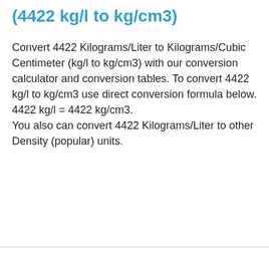(4422 kg/l to kg/cm3)
Convert 4422 Kilograms/Liter to Kilograms/Cubic Centimeter (kg/l to kg/cm3) with our conversion calculator and conversion tables. To convert 4422 kg/l to kg/cm3 use direct conversion formula below.
4422 kg/l = 4422 kg/cm3.
You also can convert 4422 Kilograms/Liter to other Density (popular) units.